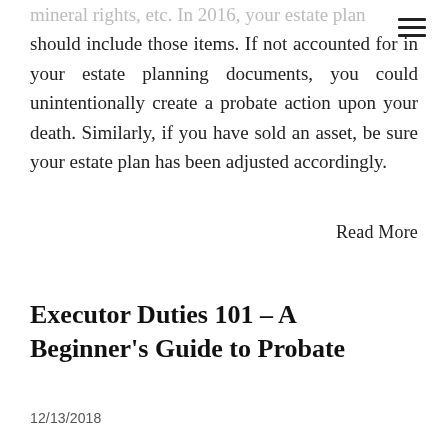hamburger menu icon
mineral rights, etc. In 2016, your estate plan should include those items. If not accounted for in your estate planning documents, you could unintentionally create a probate action upon your death. Similarly, if you have sold an asset, be sure your estate plan has been adjusted accordingly.
Read More
Executor Duties 101 - A Beginner's Guide to Probate
12/13/2018